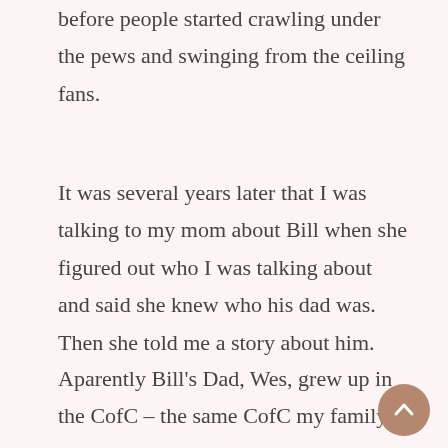before people started crawling under the pews and swinging from the ceiling fans.
It was several years later that I was talking to my mom about Bill when she figured out who I was talking about and said she knew who his dad was. Then she told me a story about him.
Aparently Bill's Dad, Wes, grew up in the CofC – the same CofC my family